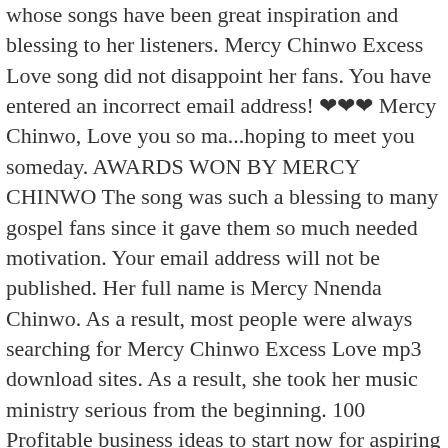whose songs have been great inspiration and blessing to her listeners. Mercy Chinwo Excess Love song did not disappoint her fans. You have entered an incorrect email address! ❤❤❤ Mercy Chinwo, Love you so ma...hoping to meet you someday. AWARDS WON BY MERCY CHINWO The song was such a blessing to many gospel fans since it gave them so much needed motivation. Your email address will not be published. Her full name is Mercy Nnenda Chinwo. As a result, most people were always searching for Mercy Chinwo Excess Love mp3 download sites. As a result, she took her music ministry serious from the beginning. 100 Profitable business ideas to start now for aspiring entrepreneurs and investors.
This was began a year after winning the Nigerian Idol Show in 2012. She also has no children. 15 investing apps and websites for entrepreneurs in Nigeria.
All rights reserved. Notably, the categories she won contained the